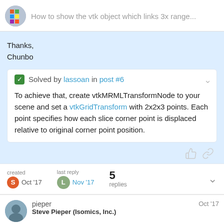How to show the vtk object which links 3x range...
Thanks,
Chunbo
Solved by lassoan in post #6
To achieve that, create vtkMRMLTransformNode to your scene and set a vtkGridTransform with 2x2x3 points. Each point specifies how each slice corner point is displaced relative to original corner point position.
created Oct '17   last reply Nov '17   5 replies
pieper   Oct '17
Steve Pieper (Isomics, Inc.)